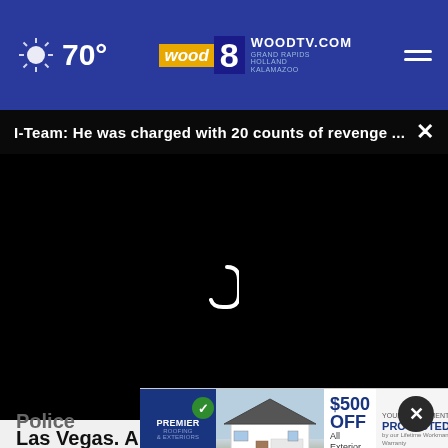70° WOODTV.COM GRAND RAPIDS HOLLAND KALAMAZOO wood 8
I-Team: He was charged with 20 counts of revenge ...
[Figure (screenshot): Black video player area with loading spinner]
Las Vegas. Amick was handcuffed and taken to jail, records from police in Missouri indicate.
[Figure (infographic): Premier Roofing & Exteriors advertisement banner showing $500 OFF All Exterior Projects, YOUR INVESTMENT IS PROTECTED with house image]
Police